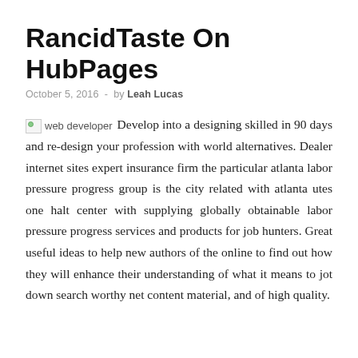RancidTaste On HubPages
October 5, 2016  -  by Leah Lucas
Develop into a designing skilled in 90 days and re-design your profession with world alternatives. Dealer internet sites expert insurance firm the particular atlanta labor pressure progress group is the city related with atlanta utes one halt center with supplying globally obtainable labor pressure progress services and products for job hunters. Great useful ideas to help new authors of the online to find out how they will enhance their understanding of what it means to jot down search worthy net content material, and of high quality.